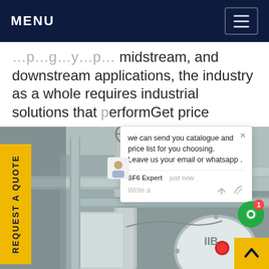MENU
…p…g…y…p… midstream, and downstream applications, the industry as a whole requires industrial solutions that performGet price
[Figure (photo): Industrial gas equipment photo showing large metal pipes, valves, cylindrical vessels and flanged components in an outdoor industrial setting]
REQUEST A QUOTE
we can send you catalogue and price list for you choosing.
Leave us your email or whatsapp .
SF6 Expert   just now
Write a